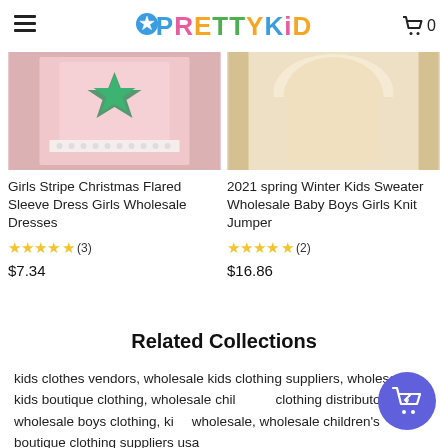PrettyKid
[Figure (photo): Girls stripe Christmas dress product photo - pink fabric with star and lace trim]
Girls Stripe Christmas Flared Sleeve Dress Girls Wholesale Dresses
★★★★★ (3)
$7.34
[Figure (photo): 2021 spring winter kids sweater - cream/beige knit jumper product photo]
2021 spring Winter Kids Sweater Wholesale Baby Boys Girls Knit Jumper
★★★★★ (2)
$16.86
Related Collections
kids clothes vendors, wholesale kids clothing suppliers, wholesale kids boutique clothing, wholesale children's clothing distributors, wholesale boys clothing, kids wholesale, wholesale children's boutique clothing suppliers usa